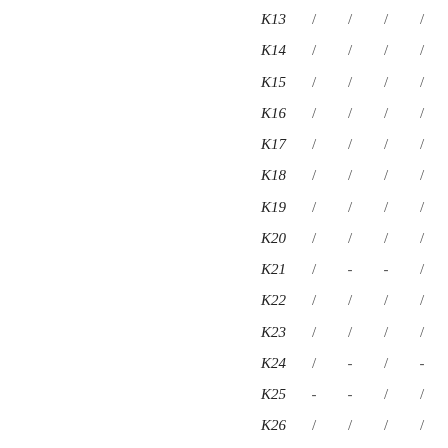| Key | C1 | C2 | C3 | C4 | C5 | C6 |
| --- | --- | --- | --- | --- | --- | --- |
| K13 | / | / | / | / | - | / |
| K14 | / | / | / | / | / | / |
| K15 | / | / | / | / | / | / |
| K16 | / | / | / | / | - | / |
| K17 | / | / | / | / | / | / |
| K18 | / | / | / | / | - | / |
| K19 | / | / | / | / | / | / |
| K20 | / | / | / | / | / | / |
| K21 | / | - | - | / | - | - |
| K22 | / | / | / | / | / | / |
| K23 | / | / | / | / | / | / |
| K24 | / | - | / | - | - | / |
| K25 | - | - | / | / | / | / |
| K26 | / | / | / | / | / | / |
| K27 | / | / | / | / | / | / |
| K28 | / | - | / | / | - | - |